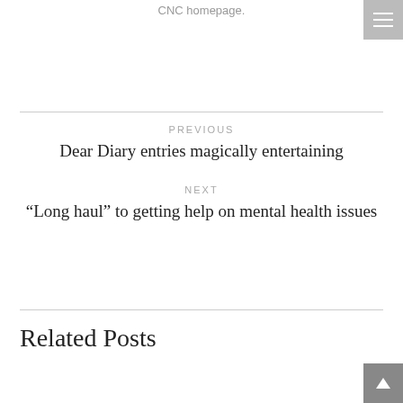CNC homepage.
PREVIOUS
Dear Diary entries magically entertaining
NEXT
“Long haul” to getting help on mental health issues
Related Posts